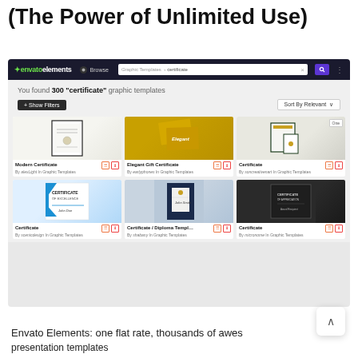(The Power of Unlimited Use)
[Figure (screenshot): Screenshot of Envato Elements website showing search results for 'certificate' graphic templates — 300 results displayed in a 3-column grid with template thumbnails and titles]
Envato Elements: one flat rate, thousands of awesome presentation templates